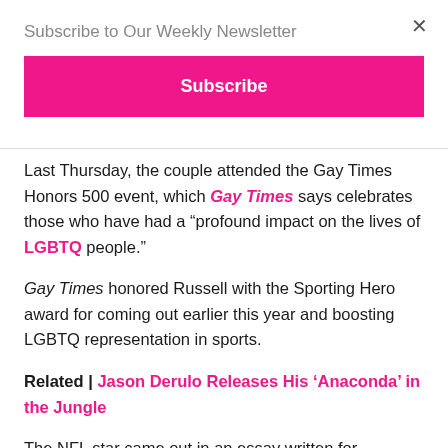Subscribe to Our Weekly Newsletter
Subscribe
Last Thursday, the couple attended the Gay Times Honors 500 event, which Gay Times says celebrates those who have had a “profound impact on the lives of LGBTQ people.”
Gay Times honored Russell with the Sporting Hero award for coming out earlier this year and boosting LGBTQ representation in sports.
Related | Jason Derulo Releases His ‘Anaconda’ in the Jungle
The NFL star came out in an essay written for